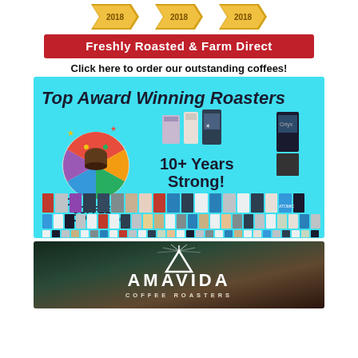[Figure (illustration): Three award ribbon badges each showing '2018' in gold/yellow at the top of the page]
Freshly Roasted & Farm Direct
Click here to order our outstanding coffees!
[Figure (illustration): GoCoffeeGo.com advertisement on cyan background showing 'Top Award Winning Roasters' heading, GoCoffeeGo logo, text '10+ Years Strong!', and rows of coffee bag product images]
[Figure (logo): Amavida Coffee Roasters logo on dark background with triangle/mountain icon above the text AMAVIDA COFFEE ROASTERS]